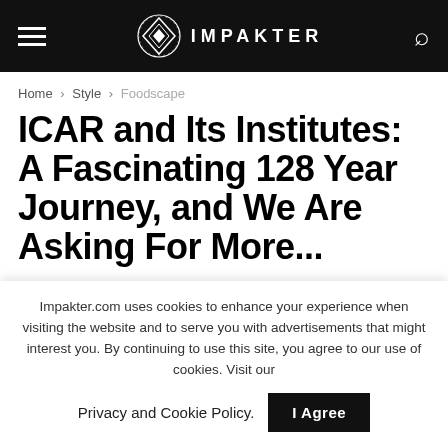IMPAKTER
Home > Style > Foodscape
ICAR and Its Institutes: A Fascinating 128 Year Journey, and We Are Asking For More...
by Dr. Mahesh Chander - Principal Scientist & Head of the Division of Extension Education at ICAR
Impakter.com uses cookies to enhance your experience when visiting the website and to serve you with advertisements that might interest you. By continuing to use this site, you agree to our use of cookies. Visit our Privacy and Cookie Policy.